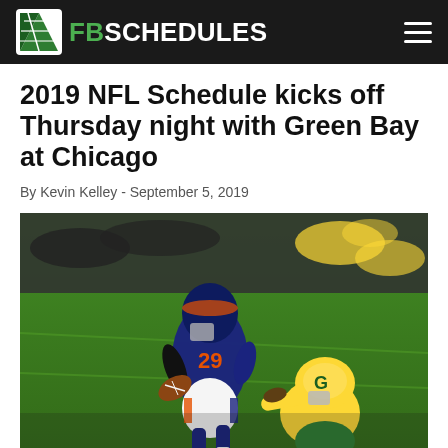FBSCHEDULES
2019 NFL Schedule kicks off Thursday night with Green Bay at Chicago
By Kevin Kelley - September 5, 2019
[Figure (photo): Chicago Bears running back #29 carrying the football while being tackled by a Green Bay Packers defender during a Thursday night NFL game. Action shot on a green turf field.]